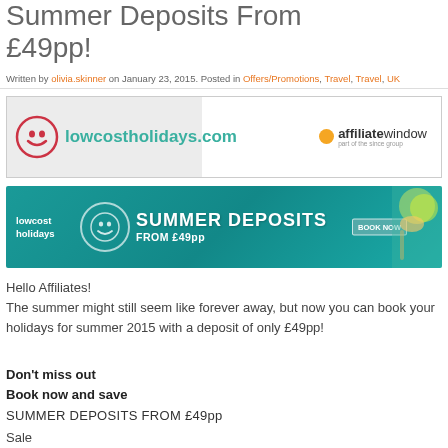Summer Deposits From £49pp!
Written by olivia.skinner on January 23, 2015. Posted in Offers/Promotions, Travel, Travel, UK
[Figure (logo): lowcostholidays.com logo with smiley face icon on left, affiliate window logo on right]
[Figure (infographic): Promo banner: lowcost holidays, SUMMER DEPOSITS FROM £49pp, BOOK NOW button, snorkeler image]
Hello Affiliates!
The summer might still seem like forever away, but now you can book your holidays for summer 2015 with a deposit of only £49pp!
Don't miss out
Book now and save
SUMMER DEPOSITS FROM £49pp
Sale